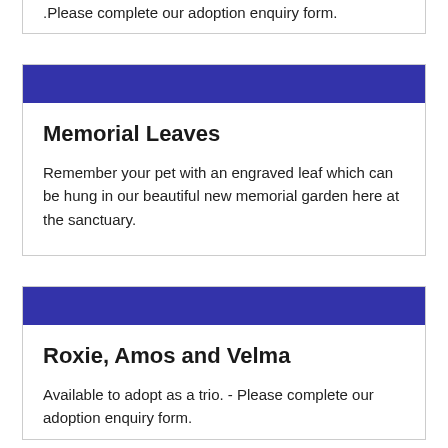.Please complete our adoption enquiry form.
Memorial Leaves
Remember your pet with an engraved leaf which can be hung in our beautiful new memorial garden here at the sanctuary.
Roxie, Amos and Velma
Available to adopt as a trio. - Please complete our adoption enquiry form.